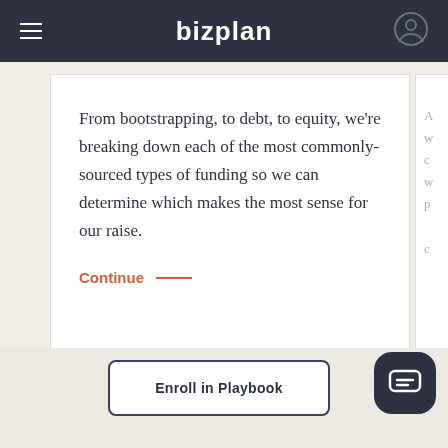bizplan
From bootstrapping, to debt, to equity, we're breaking down each of the most commonly-sourced types of funding so we can determine which makes the most sense for our raise.
Continue →
Enroll in Playbook